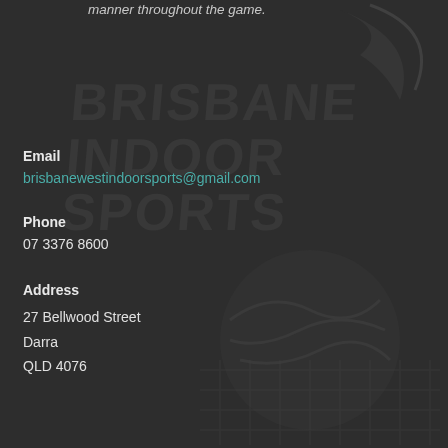manner throughout the game.
[Figure (logo): Brisbane Indoor Sports watermark logo in dark grey on dark background]
Email
brisbanewestindoorsports@gmail.com
Phone
07 3376 8600
Address
27 Bellwood Street
Darra
QLD 4076